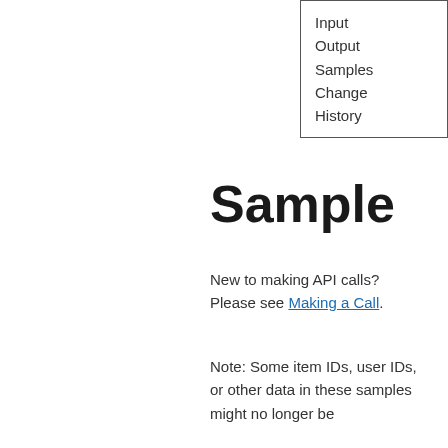Input
Output
Samples
Change
History
Sample
New to making API calls? Please see Making a Call.
Note: Some item IDs, user IDs, or other data in these samples might no longer be